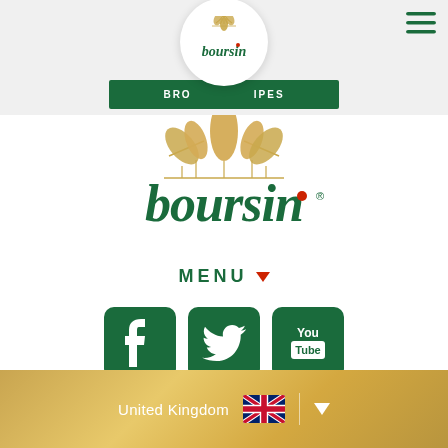[Figure (logo): Boursin logo in circular white badge at top of page header]
[Figure (screenshot): Green button partially visible reading BROWSE RECIPES]
[Figure (logo): Large Boursin brand logo centered on white background with golden wheat decoration and green text]
MENU ▼
[Figure (screenshot): Three dark green rounded square social media buttons: Facebook (f), Twitter (bird), YouTube (You/Tube)]
United Kingdom 🇬🇧 ▼